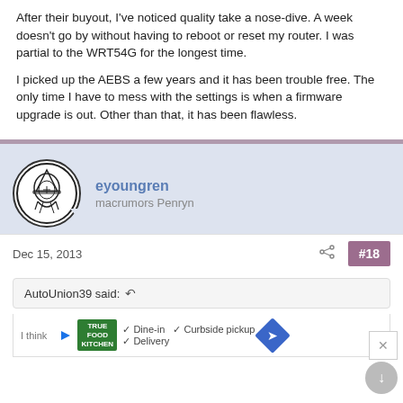After their buyout, I've noticed quality take a nose-dive. A week doesn't go by without having to reboot or reset my router. I was partial to the WRT54G for the longest time.

I picked up the AEBS a few years and it has been trouble free. The only time I have to mess with the settings is when a firmware upgrade is out. Other than that, it has been flawless.
[Figure (illustration): Forum user avatar: circular badge with wizard/bird illustration in black and white]
eyoungren
macrumors Penryn
Dec 15, 2013
#18
AutoUnion39 said: ↺
I think
[Figure (advertisement): True Food Kitchen advertisement with dine-in, delivery, and curbside pickup options]